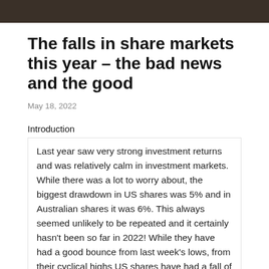[Figure (photo): Dark landscape/cityscape photo at the top of the page]
The falls in share markets this year – the bad news and the good
May 18, 2022
Introduction
Last year saw very strong investment returns and was relatively calm in investment markets. While there was a lot to worry about, the biggest drawdown in US shares was 5% and in Australian shares it was 6%. This always seemed unlikely to be repeated and it certainly hasn't been so far in 2022! While they have had a good bounce from last week's lows, from their cyclical highs US shares have had a fall of 18% to their recent low, global shares have had a fall of 17% and